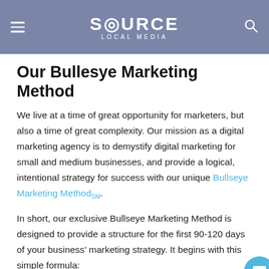SOURCE LOCAL MEDIA
Our Bullesye Marketing Method
We live at a time of great opportunity for marketers, but also a time of great complexity. Our mission as a digital marketing agency is to demystify digital marketing for small and medium businesses, and provide a logical, intentional strategy for success with our unique Bullseye Marketing MethodSM.
In short, our exclusive Bullseye Marketing Method is designed to provide a structure for the first 90-120 days of your business’ marketing strategy. It begins with this simple formula:
TARGETING + MESSAGING + REACH =